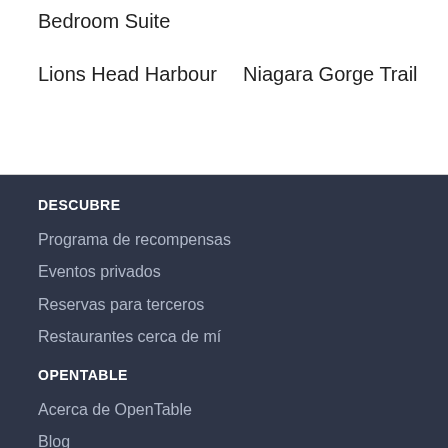Bedroom Suite
Lions Head Harbour
Niagara Gorge Trail
DESCUBRE
Programa de recompensas
Eventos privados
Reservas para terceros
Restaurantes cerca de mí
OPENTABLE
Acerca de OpenTable
Blog
Empleo
Prensa
MÁS